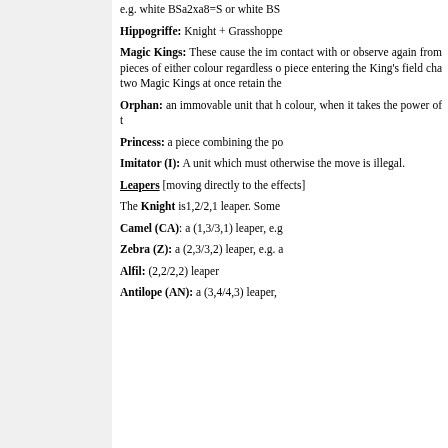e.g. white BSa2xa8=S or white BS
Hippogriffe: Knight + Grasshoppe
Magic Kings: These cause the im contact with or observe again from pieces of either colour regardless c piece entering the King’s field cha two Magic Kings at once retain the
Orphan: an immovable unit that h colour, when it takes the power of t
Princess: a piece combining the po
Imitator (I): A unit which must otherwise the move is illegal.
Leapers [moving directly to the effects]
The Knight is1,2/2,1 leaper. Some
Camel (CA): a (1,3/3,1) leaper, e.g
Zebra (Z): a (2,3/3,2) leaper, e.g. a
Alfil: (2,2/2,2) leaper
Antilope (AN): a (3,4/4,3) leaper,